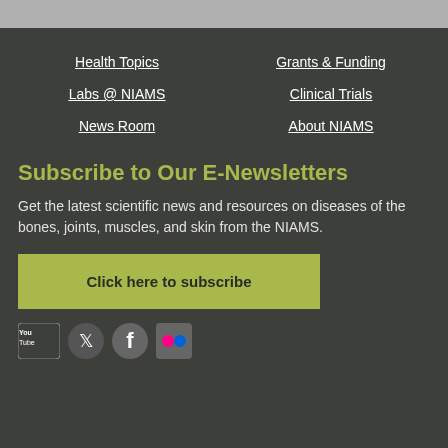Health Topics
Grants & Funding
Labs @ NIAMS
Clinical Trials
News Room
About NIAMS
Subscribe to Our E-Newsletters
Get the latest scientific news and resources on diseases of the bones, joints, muscles, and skin from the NIAMS.
Click here to subscribe
[Figure (other): Social media icons: YouTube, Twitter, Facebook, Flickr]